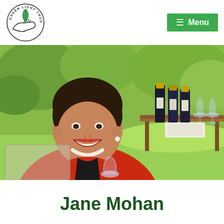Green Light Trust — Menu navigation header
[Figure (logo): Green Light Trust circular logo with a hand holding a leaf, text 'GREEN LIGHT TRUST' around the circle]
[Figure (photo): A smiling woman in a red jacket seated outdoors at a vineyard, wine bottles and glasses on a table behind her, green vines in the background]
Jane Mohan